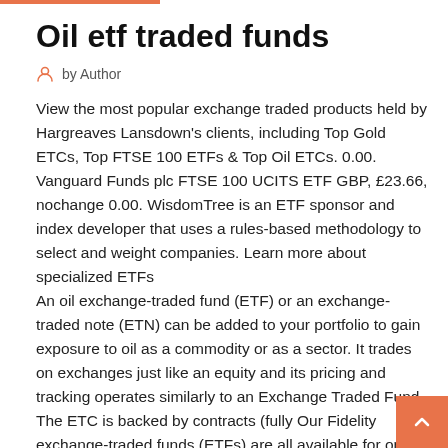Oil etf traded funds
by Author
View the most popular exchange traded products held by Hargreaves Lansdown's clients, including Top Gold ETCs, Top FTSE 100 ETFs & Top Oil ETCs. 0.00. Vanguard Funds plc FTSE 100 UCITS ETF GBP, £23.66, nochange 0.00. WisdomTree is an ETF sponsor and index developer that uses a rules-based methodology to select and weight companies. Learn more about specialized ETFs
An oil exchange-traded fund (ETF) or an exchange-traded note (ETN) can be added to your portfolio to gain exposure to oil as a commodity or as a sector. It trades on exchanges just like an equity and its pricing and tracking operates similarly to an Exchange Traded Fund. The ETC is backed by contracts (fully Our Fidelity exchange-traded funds (ETFs) are all available for online purchase, commission-free and feature 25 funds, including factor, sector, stock, and bond  9 Mar 2020 Distress